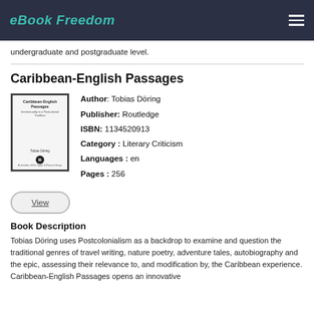eBook Freedom
undergraduate and postgraduate level.
Caribbean-English Passages
[Figure (illustration): Book cover for Caribbean-English Passages]
Author: Tobias Döring
Publisher: Routledge
ISBN: 1134520913
Category: Literary Criticism
Languages: en
Pages: 256
View
Book Description
Tobias Döring uses Postcolonialism as a backdrop to examine and question the traditional genres of travel writing, nature poetry, adventure tales, autobiography and the epic, assessing their relevance to, and modification by, the Caribbean experience. Caribbean-English Passages opens an innovative